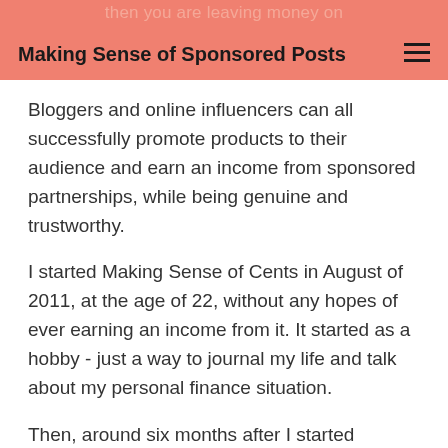then you are leaving money on
Making Sense of Sponsored Posts
Bloggers and online influencers can all successfully promote products to their audience and earn an income from sponsored partnerships, while being genuine and trustworthy.
I started Making Sense of Cents in August of 2011, at the age of 22, without any hopes of ever earning an income from it. It started as a hobby - just a way to journal my life and talk about my personal finance situation.
Then, around six months after I started